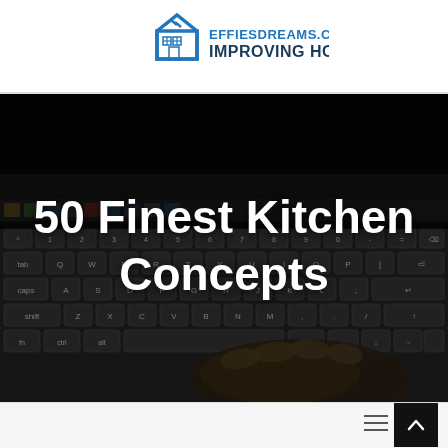[Figure (logo): Effiesdreams.com Improving Home logo with house icon in blue]
[Figure (photo): Dark photo of a person's hands typing on a laptop keyboard, used as hero background image]
50 Finest Kitchen Concepts
[Figure (other): Back-to-top arrow button (dark square with upward chevron) in the bottom right corner]